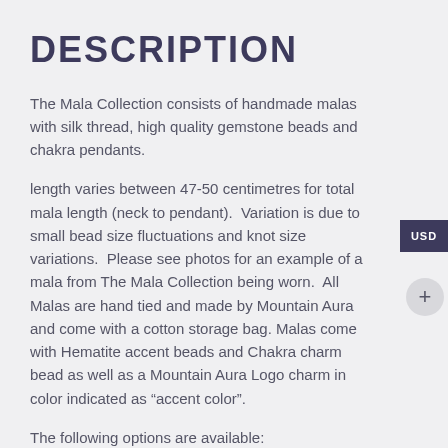DESCRIPTION
The Mala Collection consists of handmade malas with silk thread, high quality gemstone beads and chakra pendants.
length varies between 47-50 centimetres for total mala length (neck to pendant).  Variation is due to small bead size fluctuations and knot size variations.  Please see photos for an example of a mala from The Mala Collection being worn.  All Malas are hand tied and made by Mountain Aura and come with a cotton storage bag. Malas come with Hematite accent beads and Chakra charm bead as well as a Mountain Aura Logo charm in color indicated as “accent color”.
The following options are available: